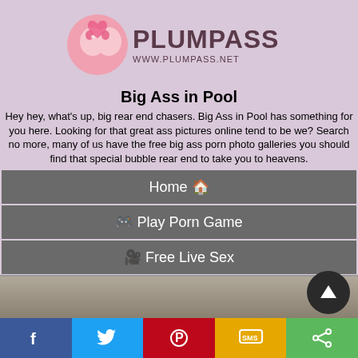[Figure (logo): PlumPass logo with stylized icon and text PLUMPASS WWW.PLUMPASS.NET on pink/lavender background]
Big Ass in Pool
Hey hey, what's up, big rear end chasers. Big Ass in Pool has something for you here. Looking for that great ass pictures online tend to be we? Search no more, many of us have the free big ass porn photo galleries you should find that special bubble rear end to take you to heavens.
Home 🏠
🎮 Play Porn Game
🎥 Free Live Sex
💋 Busty Girls Dating
📺 Busty Toons Tube
[Figure (photo): Partial photo of a person at the bottom of the page]
[Figure (infographic): Social share bar with Facebook, Twitter, Pinterest, SMS, and share icons]